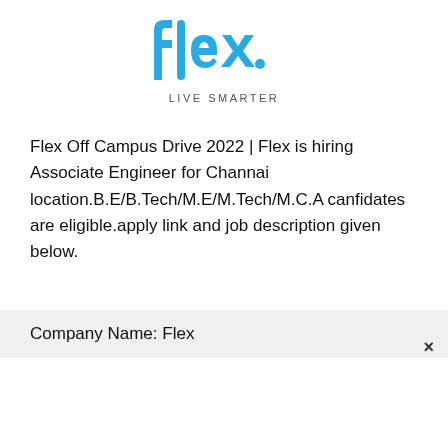[Figure (logo): Flex logo in blue with 'LIVE SMARTER' tagline below]
Flex Off Campus Drive 2022 | Flex is hiring Associate Engineer for Channai location.B.E/B.Tech/M.E/M.Tech/M.C.A canfidates are eligible.apply link and job description given below.
Company Name: Flex